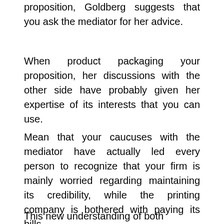proposition, Goldberg suggests that you ask the mediator for her advice.
When product packaging your proposition, her discussions with the other side have probably given her expertise of its interests that you can use.
Mean that your caucuses with the mediator have actually led every person to recognize that your firm is mainly worried regarding maintaining its credibility, while the printing company is bothered with paying its bills.
This new understanding of both